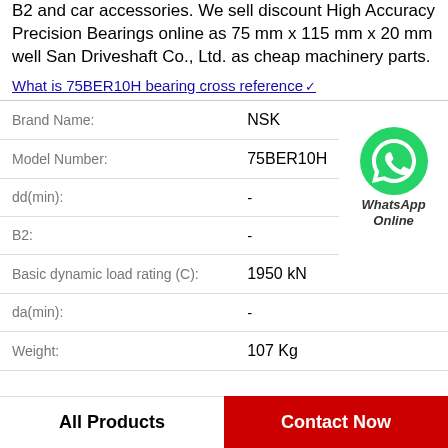B2 and car accessories. We sell discount High Accuracy Precision Bearings online as 75 mm x 115 mm x 20 mm well San Driveshaft Co., Ltd. as cheap machinery parts.
What is 75BER10H bearing cross reference
| Property | Value |
| --- | --- |
| Brand Name: | NSK |
| Model Number: | 75BER10H |
| dd(min): | - |
| B2: | - |
| Basic dynamic load rating (C): | 1950 kN |
| da(min): | - |
| Weight: | 107 Kg |
[Figure (logo): WhatsApp Online green phone icon with label 'WhatsApp Online']
All Products
Contact Now